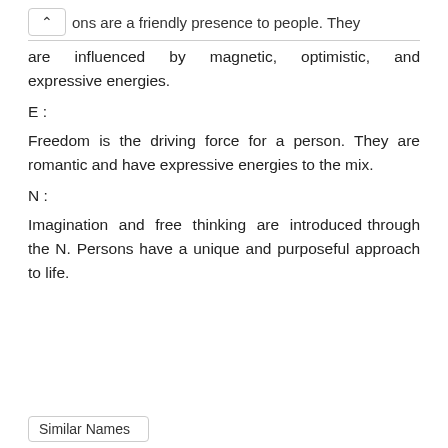ons are a friendly presence to people. They are influenced by magnetic, optimistic, and expressive energies.
E :
Freedom is the driving force for a person. They are romantic and have expressive energies to the mix.
N :
Imagination and free thinking are introduced through the N. Persons have a unique and purposeful approach to life.
Similar Names